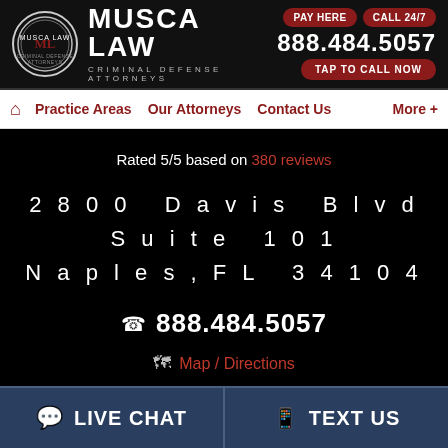[Figure (logo): Musca Law Criminal Defense Attorneys logo with circular badge and firm name]
PAY HERE   CALL 24/7
888.484.5057
TAP TO CALL NOW
Practice Areas   Our Attorneys   Contact Us   More +
Rated 5/5 based on 380 reviews
2800 Davis Blvd
Suite 101
Naples,FL 34104
888.484.5057
Map / Directions
LIVE CHAT
TEXT US